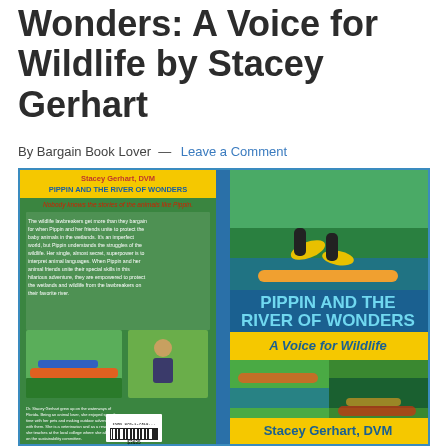Wonders: A Voice for Wildlife by Stacey Gerhart
By Bargain Book Lover — Leave a Comment
[Figure (photo): Book cover of 'Pippin and the River of Wonders: A Voice for Wildlife' by Stacey Gerhart, DVM. The cover shows kayaking scenes in a river, with the title in large text on the right side on a blue background, and a yellow banner reading 'A Voice for Wildlife'. The back cover shows a synopsis and author bio with a photo of a woman with a dog.]